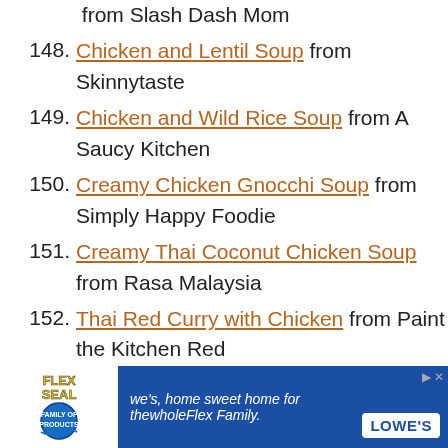from Slash Dash Mom (truncated at top)
148. Chicken and Lentil Soup from Skinnytaste
149. Chicken and Wild Rice Soup from A Saucy Kitchen
150. Creamy Chicken Gnocchi Soup from Simply Happy Foodie
151. Creamy Thai Coconut Chicken Soup from Rasa Malaysia
152. Thai Red Curry with Chicken from Paint the Kitchen Red
[Figure (other): Flex Seal and Lowe's advertisement banner at bottom of page]